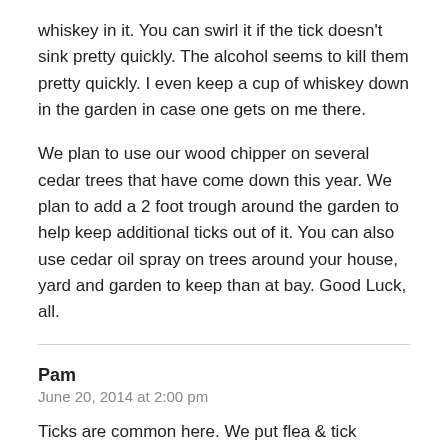whiskey in it. You can swirl it if the tick doesn't sink pretty quickly. The alcohol seems to kill them pretty quickly. I even keep a cup of whiskey down in the garden in case one gets on me there.
We plan to use our wood chipper on several cedar trees that have come down this year. We plan to add a 2 foot trough around the garden to help keep additional ticks out of it. You can also use cedar oil spray on trees around your house, yard and garden to keep than at bay. Good Luck, all.
Pam
June 20, 2014 at 2:00 pm
Ticks are common here. We put flea & tick collars on the dogs for their protection and so they don't bring them into the house. The wetter the spring, the more